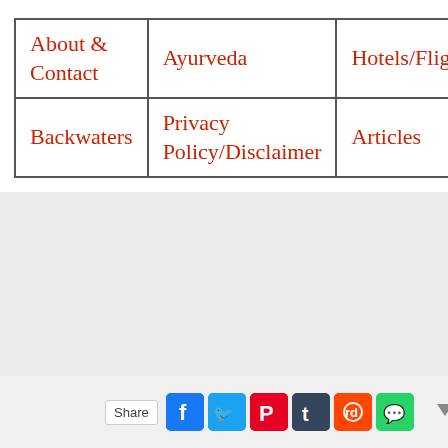| About & Contact | Ayurveda | Hotels/Flights |
| Backwaters | Privacy Policy/Disclaimer | Articles |
[Figure (other): Social share bar with Facebook, Twitter, Pinterest, Tumblr, Reddit, WhatsApp icons and a dropdown arrow]